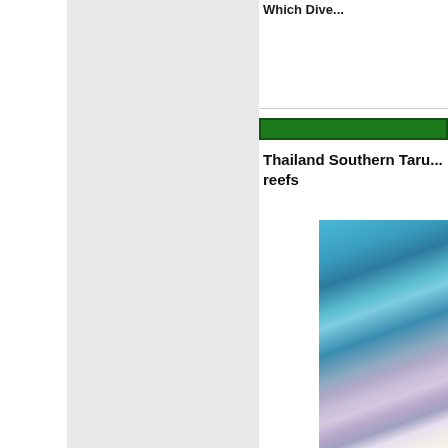Which Dive...
[Figure (other): Left navigation panel - grey sidebar]
Thailand Southern Taru... reefs
[Figure (photo): Underwater coral reef photograph with blue water and coral formations]